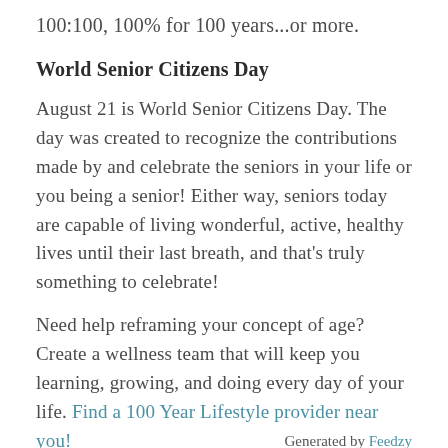100:100, 100% for 100 years...or more.
World Senior Citizens Day
August 21 is World Senior Citizens Day. The day was created to recognize the contributions made by and celebrate the seniors in your life or you being a senior! Either way, seniors today are capable of living wonderful, active, healthy lives until their last breath, and that's truly something to celebrate!
Need help reframing your concept of age? Create a wellness team that will keep you learning, growing, and doing every day of your life. Find a 100 Year Lifestyle provider near you!
Generated by Feedzy